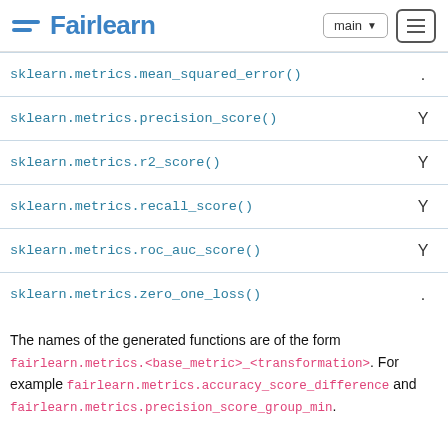Fairlearn | main
| Function | Indicator |
| --- | --- |
| sklearn.metrics.mean_squared_error() | . |
| sklearn.metrics.precision_score() | Y |
| sklearn.metrics.r2_score() | Y |
| sklearn.metrics.recall_score() | Y |
| sklearn.metrics.roc_auc_score() | Y |
| sklearn.metrics.zero_one_loss() | . |
The names of the generated functions are of the form fairlearn.metrics.<base_metric>_<transformation>. For example fairlearn.metrics.accuracy_score_difference and fairlearn.metrics.precision_score_group_min.